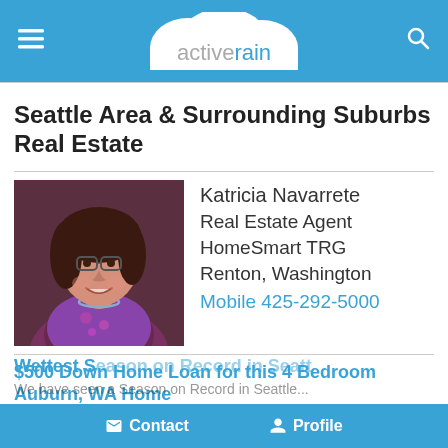activerain
Seattle Area & Surrounding Suburbs Real Estate
[Figure (photo): Profile photo of Katricia Navarrete, a woman with dark hair and glasses, smiling]
Katricia Navarrete
Real Estate Agent
HomeSmart TRG
Renton, Washington
Mobile 425-292-5000
$500 Down Home Loan for this 4 Bedroom Auburn, WA Home
Want to buy a home, but don't have enough money saved for the down ...
September 21, 2016 04:35 AM
Sometimes a Buyer Sale Really Teaches You Something!
As a REALTOR, I focus on helping my Buyer clients purchase a home. ...
September 21, 2016 02:34 AM
Wettest Season on Record in Seattle
We have seen a Season on Record in Seattle...
Contact   Profile